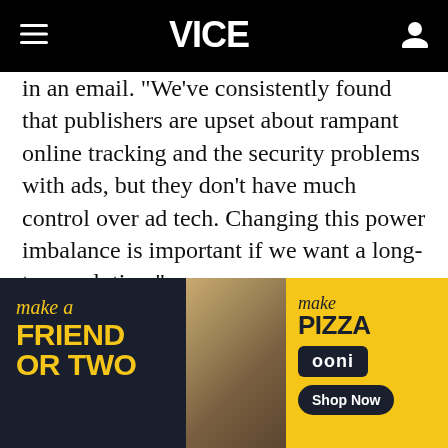VICE
in an email. "We've consistently found that publishers are upset about rampant online tracking and the security problems with ads, but they don't have much control over ad tech. Changing this power imbalance is important if we want a long-term solution."
A proof of concept is now available for Chrome, but is not fully functional (as in, it only detects
[Figure (photo): Advertisement banner for Ooni pizza oven and a pet-friendly outdoor event. Left dark panel reads 'Make a FRIEND OR TWO' in yellow text. Center shows a photo of people and dogs at a picnic with pizza. Right yellow panel reads 'Make PIZZA' with Ooni logo and 'Shop Now' button.]